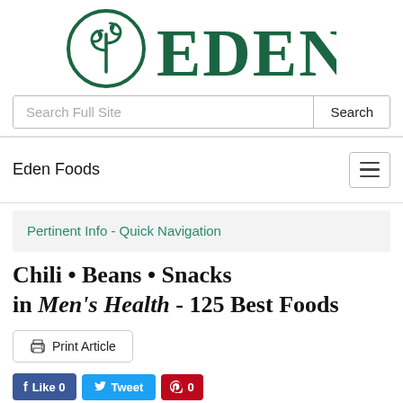[Figure (logo): Eden Foods logo: circular emblem with stylized plant/tree motif in dark green, next to large serif text 'EDEN' in dark green]
Search Full Site
Search
Eden Foods
Pertinent Info - Quick Navigation
Chili • Beans • Snacks in Men's Health - 125 Best Foods
Print Article
Like 0  Tweet  0